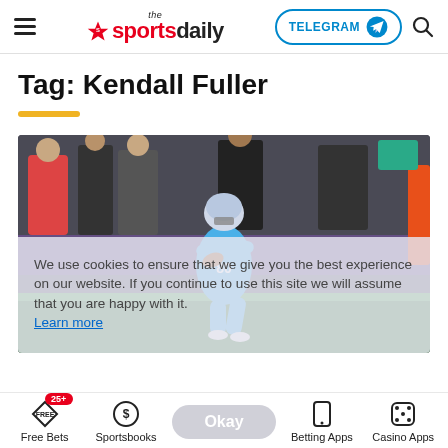the sportsdaily | TELEGRAM | search
Tag: Kendall Fuller
[Figure (photo): Detroit Lions player in light blue uniform #80 carrying a football, running on the field, with spectators in background]
We use cookies to ensure that we give you the best experience on our website. If you continue to use this site we will assume that you are happy with it. Learn more
Free Bets | Sportsbooks | Okay | Betting Apps | Casino Apps